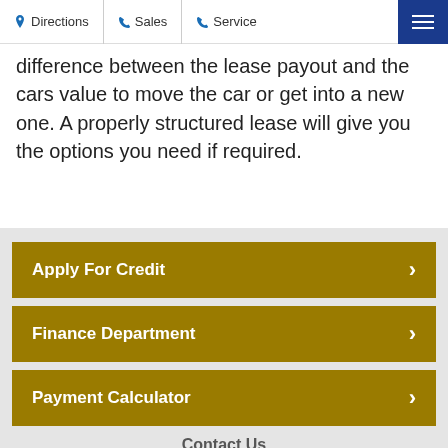Directions | Sales | Service
difference between the lease payout and the cars value to move the car or get into a new one. A properly structured lease will give you the options you need if required.
Apply For Credit
Finance Department
Payment Calculator
Contact Us
Humberview Chevrolet, Buick & GMC